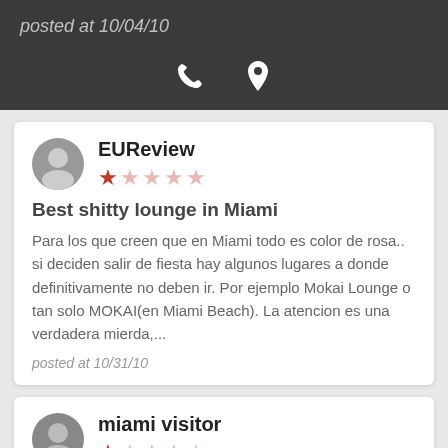posted at 10/04/10
EUReview
★☆☆☆☆
Best shitty lounge in Miami
Para los que creen que en Miami todo es color de rosa.. si deciden salir de fiesta hay algunos lugares a donde definitivamente no deben ir. Por ejemplo Mokai Lounge o tan solo MOKAI(en Miami Beach). La atencion es una verdadera mierda,...
posted at 10/31/10
miami visitor
★☆☆☆☆
Racism people
This club was said to be hot so my friends and I decided to...